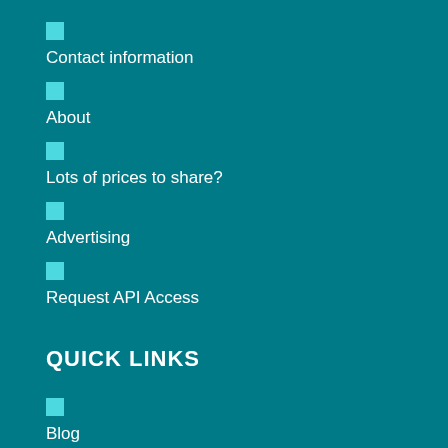Contact information
About
Lots of prices to share?
Advertising
Request API Access
QUICK LINKS
Blog